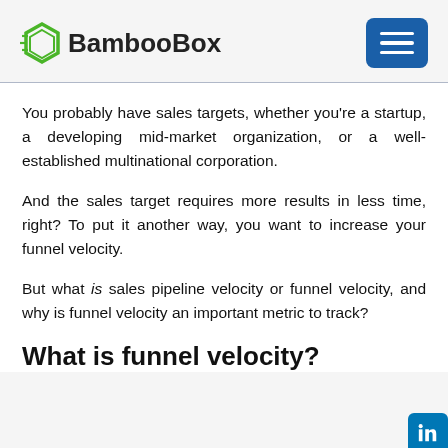BambooBox
You probably have sales targets, whether you're a startup, a developing mid-market organization, or a well-established multinational corporation.
And the sales target requires more results in less time, right? To put it another way, you want to increase your funnel velocity.
But what is sales pipeline velocity or funnel velocity, and why is funnel velocity an important metric to track?
What is funnel velocity?